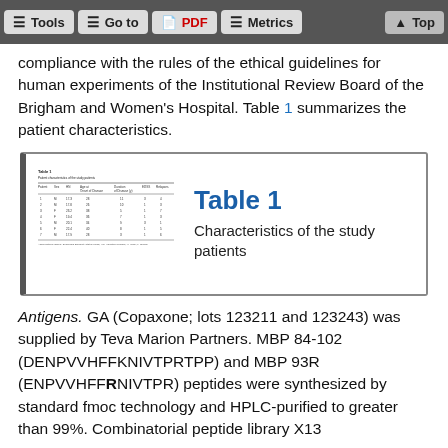Tools | Go to | PDF | Metrics | Top
compliance with the rules of the ethical guidelines for human experiments of the Institutional Review Board of the Brigham and Women's Hospital. Table 1 summarizes the patient characteristics.
[Figure (table-as-image): Thumbnail of Table 1 showing patient characteristics data]
Table 1 Characteristics of the study patients
Antigens. GA (Copaxone; lots 123211 and 123243) was supplied by Teva Marion Partners. MBP 84-102 (DENPVVHFFKNIVTPRTPP) and MBP 93R (ENPVVHFFRNIVTPR) peptides were synthesized by standard fmoc technology and HPLC-purified to greater than 99%. Combinatorial peptide library X13